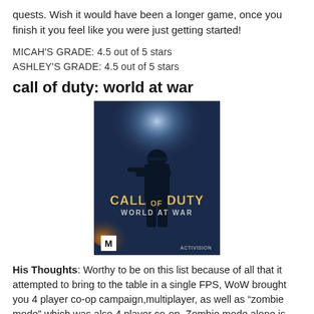quests. Wish it would have been a longer game, once you finish it you feel like you were just getting started!
MICAH'S GRADE: 4.5 out of 5 stars
ASHLEY'S GRADE: 4.5 out of 5 stars
call of duty: world at war
[Figure (photo): Call of Duty: World at War game cover art showing a soldier with weapons and the game title, rated M, published by Activision]
His Thoughts: Worthy to be on this list because of all that it attempted to bring to the table in a single FPS, WoW brought you 4 player co-op campaign,multiplayer, as well as "zombie mode" which was also 4 player co-op. Zombie mode alone is not worth the coop